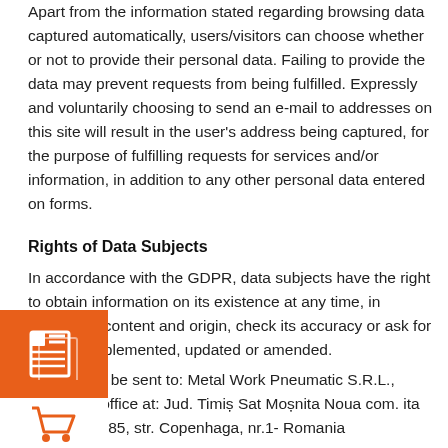Apart from the information stated regarding browsing data captured automatically, users/visitors can choose whether or not to provide their personal data. Failing to provide the data may prevent requests from being fulfilled. Expressly and voluntarily choosing to send an e-mail to addresses on this site will result in the user's address being captured, for the purpose of fulfilling requests for services and/or information, in addition to any other personal data entered on forms.
Rights of Data Subjects
In accordance with the GDPR, data subjects have the right to obtain information on its existence at any time, in addition to content and origin, check its accuracy or ask for it to be supplemented, updated or amended.
Requests should be sent to: Metal Work Pneumatic S.R.L., registered office at: Jud. Timiș Sat Moșnita Noua com. Moșnita Noua, 307285, str. Copenhaga, nr.1- Romania
[Figure (infographic): Orange sidebar widget with three icons: newspaper/news icon (orange background), shopping cart icon (white background), and mail/envelope icon (gray background)]